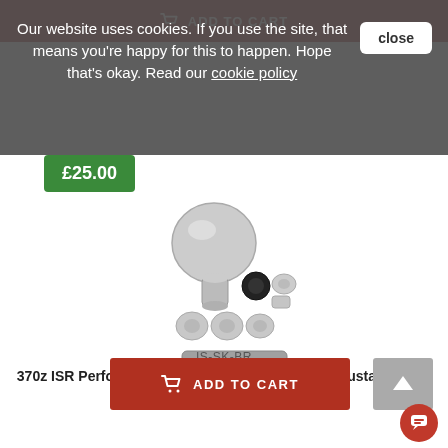[Figure (screenshot): Add to cart button at top of page, partially visible, dark red background with cart icon and text 'ADD TO CART' in white]
Our website uses cookies. If you use the site, that means you're happy for this to happen. Hope that's okay. Read our cookie policy
close
£25.00
[Figure (photo): 370z ISR Performance Billet Aluminum Height Adjustable Shift Knob product photo showing disassembled knob components: spherical ball head, cylindrical body, black rubber ring, small adapters, and flat wrench tool, all in silver/chrome finish]
IS-SK-BR
370z ISR Performance Billet Aluminum Height Adjustable Shift Knob
[Figure (screenshot): Add to cart button, dark red with shopping cart icon and text 'ADD TO CART']
[Figure (screenshot): Scroll to top arrow button, grey background with white upward arrow]
[Figure (screenshot): Red circular chat support bubble icon at bottom right]